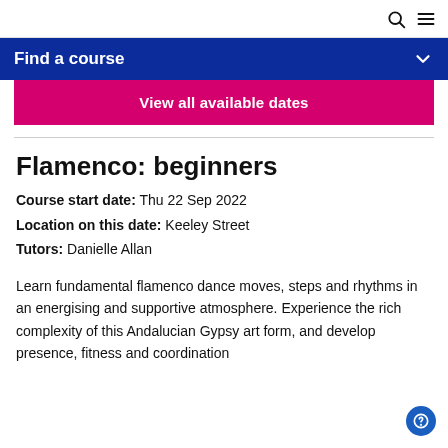Find a course
View all available dates
Flamenco: beginners
Course start date: Thu 22 Sep 2022
Location on this date: Keeley Street
Tutors: Danielle Allan
Learn fundamental flamenco dance moves, steps and rhythms in an energising and supportive atmosphere. Experience the rich complexity of this Andalucian Gypsy art form, and develop presence, fitness and coordination